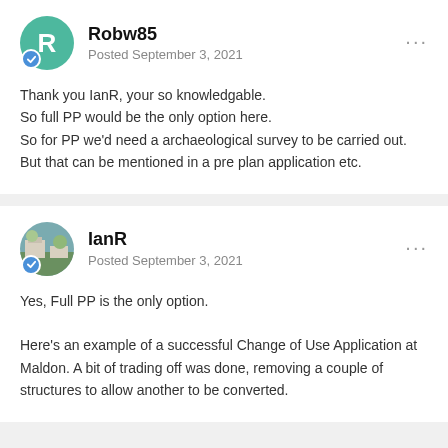Robw85
Posted September 3, 2021
Thank you IanR, your so knowledgable.
So full PP would be the only option here.
So for PP we'd need a archaeological survey to be carried out. But that can be mentioned in a pre plan application etc.
IanR
Posted September 3, 2021
Yes, Full PP is the only option.

Here's an example of a successful Change of Use Application at Maldon. A bit of trading off was done, removing a couple of structures to allow another to be converted.